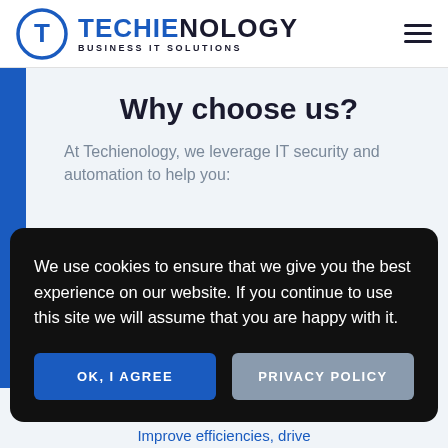TECHIENOLOGY BUSINESS IT SOLUTIONS
Why choose us?
At Techienology, we leverage IT security and automation to help you:
We use cookies to ensure that we give you the best experience on our website. If you continue to use this site we will assume that you are happy with it.
OK, I AGREE
PRIVACY POLICY
Improve efficiencies, drive